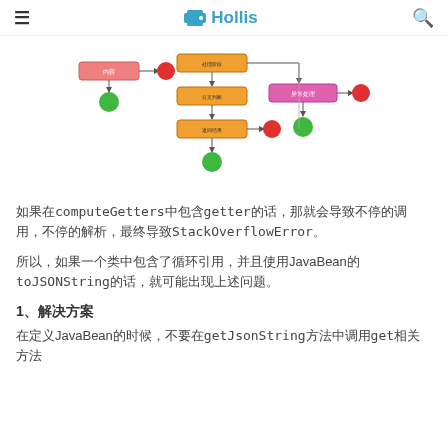≡  🖨 Hollis  🔍
[Figure (flowchart): A flowchart diagram showing nodes connected with arrows. Contains red/salmon colored rectangle at top-left, orange/yellow rectangles in the center column, a pink/magenta rectangle on the right, red circles (error nodes) and green circles (success nodes) connected by arrows.]
如果在computeGetters中包含getter的话，那就会导致不停的调用，不停的解析，最终导致StackOverflowError。
所以，如果一个类中包含了循环引用，并且使用JavaBean的toJSONString的话，就可能出现上述问题。
1、解决方案
在定义JavaBean的时候，不要在getJsonString方法中调用get相关方法